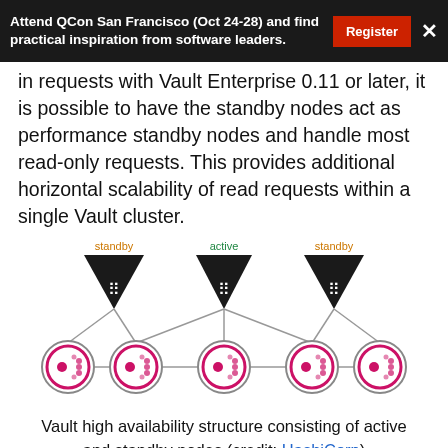Attend QCon San Francisco (Oct 24-28) and find practical inspiration from software leaders.
in requests with Vault Enterprise 0.11 or later, it is possible to have the standby nodes act as performance standby nodes and handle most read-only requests. This provides additional horizontal scalability of read requests within a single Vault cluster.
[Figure (illustration): Diagram showing Vault high availability structure with three Vault server nodes (two labeled 'standby' in orange, one labeled 'active' in green) at top connected by lines to five Consul storage nodes at the bottom arranged in a row.]
Vault high availability structure consisting of active and standby nodes (credit: HashiCorp)